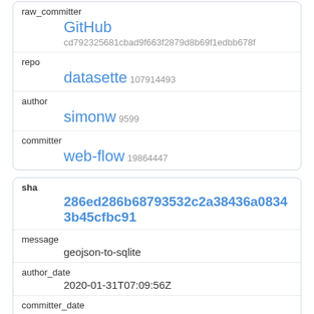| raw_committer | GitHub cd792325681cbad9f663f2879d8b69f1edbb678f |
| repo | datasette 107914493 |
| author | simonw 9599 |
| committer | web-flow 19864447 |
| sha | 286ed286b68793532c2a38436a08343b45cfbc91 |
| message | geojson-to-sqlite |
| author_date | 2020-01-31T07:09:56Z |
| committer_date | 2020-01-31T07:09:56Z |
| raw_author | Simon
Willison 13ae486343ea6454a93114c6f558ffea2f2c6874 |